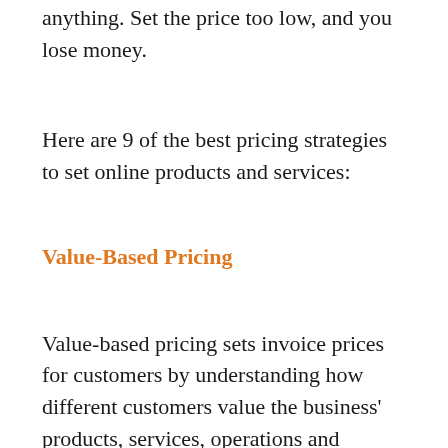anything. Set the price too low, and you lose money.
Here are 9 of the best pricing strategies to set online products and services:
Value-Based Pricing
Value-based pricing sets invoice prices for customers by understanding how different customers value the business' products, services, operations and